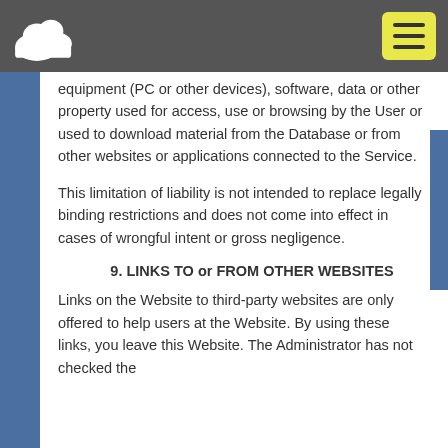Cloud service website header with logo and navigation menu
equipment (PC or other devices), software, data or other property used for access, use or browsing by the User or used to download material from the Database or from other websites or applications connected to the Service.
This limitation of liability is not intended to replace legally binding restrictions and does not come into effect in cases of wrongful intent or gross negligence.
9. LINKS TO or FROM OTHER WEBSITES
Links on the Website to third-party websites are only offered to help users at the Website. By using these links, you leave this Website. The Administrator has not checked the websites which are linked to the Website and